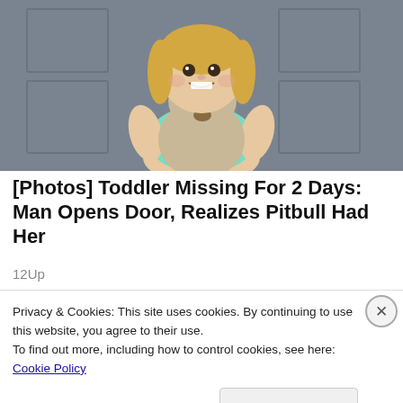[Figure (photo): A smiling young toddler girl with blonde hair wearing a mint green shirt, holding a large stuffed teddy bear, seated in front of a grey metal surface.]
[Photos] Toddler Missing For 2 Days: Man Opens Door, Realizes Pitbull Had Her
12Up
[Figure (photo): Thumbnail image of a second article about a mom letting a 14 year old do something.]
[Photos] Mom Lets 14 Year Old
Privacy & Cookies: This site uses cookies. By continuing to use this website, you agree to their use.
To find out more, including how to control cookies, see here: Cookie Policy
Close and accept